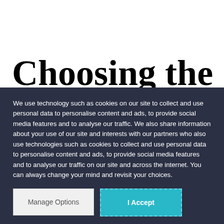Choosing the
We use technology such as cookies on our site to collect and use personal data to personalise content and ads, to provide social media features and to analyse our traffic. We also share information about your use of our site and interests with our partners who also use technologies such as cookies to collect and use personal data to personalise content and ads, to provide social media features and to analyse our traffic on our site and across the internet. You can always change your mind and revisit your choices.
Manage Options
I Accept